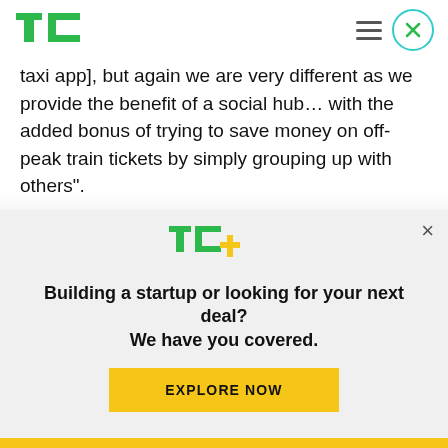TechCrunch logo, hamburger menu, close button
taxi app], but again we are very different as we provide the benefit of a social hub… with the added bonus of trying to save money on off-peak train tickets by simply grouping up with others".
Asked how Paystobesocial plans to make money, Byrne says the U.K. startup will take a small cut of any saving a user makes if they successfully match
[Figure (logo): TC+ logo — TechCrunch plus sign logo in green and yellow]
Building a startup or looking for your next deal? We have you covered.
EXPLORE NOW